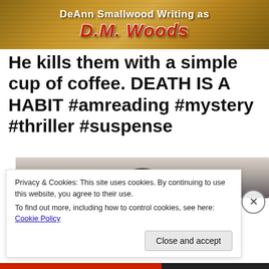[Figure (photo): Banner image with wood-grain textured background. Top text reads 'DeAnn Smallwood Writing as' in white bold font. Below in large red italic bold font reads 'D.M. Woods'.]
He kills them with a simple cup of coffee. DEATH IS A HABIT #amreading #mystery #thriller #suspense
[Figure (photo): Partial image showing a blurry dark figure, partially obscured by cookie consent banner.]
Privacy & Cookies: This site uses cookies. By continuing to use this website, you agree to their use.
To find out more, including how to control cookies, see here: Cookie Policy
Close and accept